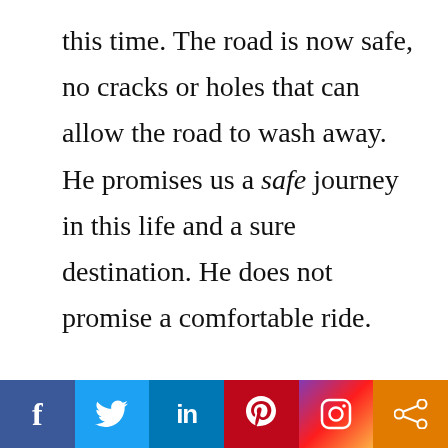this time. The road is now safe, no cracks or holes that can allow the road to wash away. He promises us a safe journey in this life and a sure destination. He does not promise a comfortable ride.
[Figure (other): Social sharing bar with icons for Facebook, Twitter, LinkedIn, Pinterest, Instagram, and a generic share button]